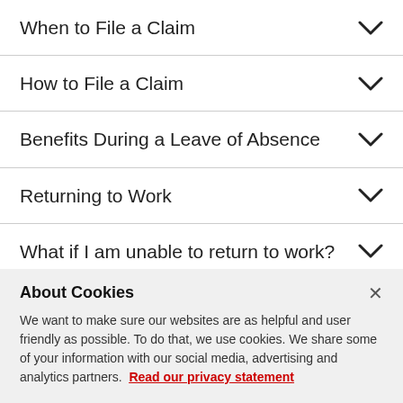When to File a Claim
How to File a Claim
Benefits During a Leave of Absence
Returning to Work
What if I am unable to return to work?
About Cookies
We want to make sure our websites are as helpful and user friendly as possible. To do that, we use cookies. We share some of your information with our social media, advertising and analytics partners. Read our privacy statement